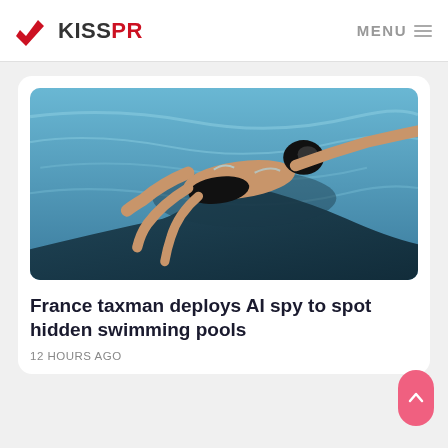KISSPR  MENU
[Figure (photo): A swimmer wearing a black swim cap and black swimwear, swimming in a pool with blue water and dark lane dividers, viewed from above.]
France taxman deploys AI spy to spot hidden swimming pools
12 HOURS AGO